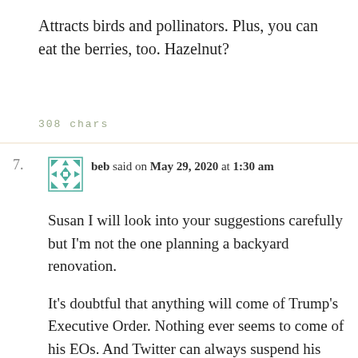Attracts birds and pollinators. Plus, you can eat the berries, too. Hazelnut?
308 chars
7. beb said on May 29, 2020 at 1:30 am

Susan I will look into your suggestions carefully but I'm not the one planning a backyard renovation.

It's doubtful that anything will come of Trump's Executive Order. Nothing ever seems to come of his EOs. And Twitter can always suspend his account for violating their terms of service. They can